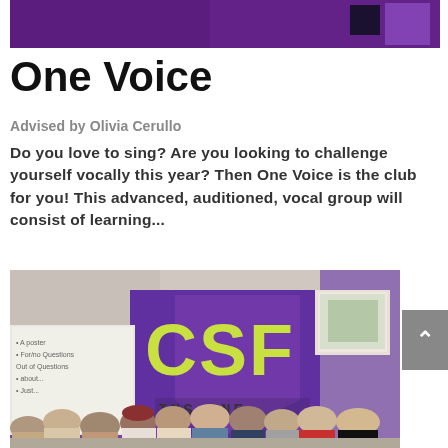[Figure (photo): Top banner photo of a classroom with purple walls]
One Voice
Advised by Olivia Cerullo
Do you love to sing? Are you looking to challenge yourself vocally this year? Then One Voice is the club for you! This advanced, auditioned, vocal group will consist of learning...
[Figure (photo): Group photo of students in a classroom with CSF signage on purple wall and INSPIRE letters on whiteboard]